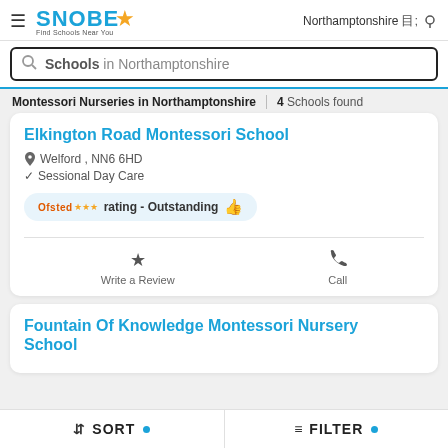SNOBE Find Schools Near You — Northamptonshire
Schools in Northamptonshire (search box)
Montessori Nurseries in Northamptonshire — 4 Schools found
Elkington Road Montessori School
Welford, NN6 6HD
Sessional Day Care
Ofsted rating - Outstanding 👍
Write a Review
Call
Fountain Of Knowledge Montessori Nursery School
SORT • FILTER •